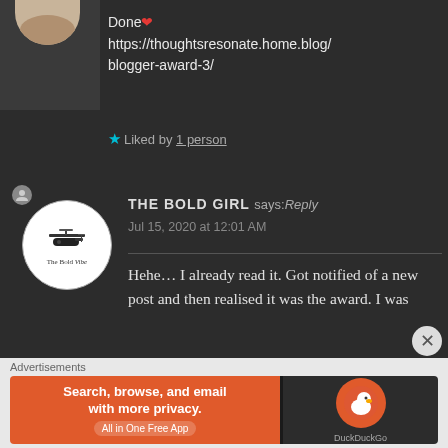Done❤️ https://thoughtsresonate.home.blog/blogger-award-3/
★ Liked by 1 person
THE BOLD GIRL says: Reply
Jul 15, 2020 at 12:01 AM
Hehe… I already read it. Got notified of a new post and then realised it was the award. I was
Advertisements
[Figure (screenshot): DuckDuckGo advertisement banner: Search, browse, and email with more privacy. All in One Free App. DuckDuckGo logo on dark background.]